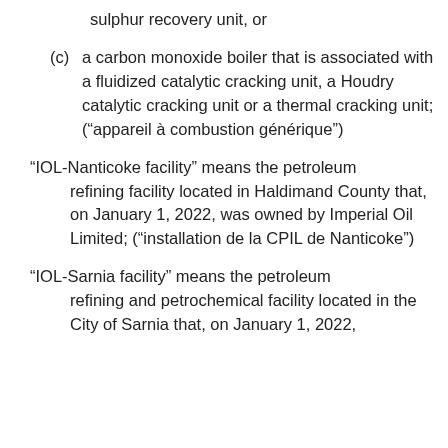sulphur recovery unit, or
(c) a carbon monoxide boiler that is associated with a fluidized catalytic cracking unit, a Houdry catalytic cracking unit or a thermal cracking unit; (“appareil à combustion générique”)
“IOL-Nanticoke facility” means the petroleum refining facility located in Haldimand County that, on January 1, 2022, was owned by Imperial Oil Limited; (“installation de la CPIL de Nanticoke”)
“IOL-Sarnia facility” means the petroleum refining and petrochemical facility located in the City of Sarnia that, on January 1, 2022,